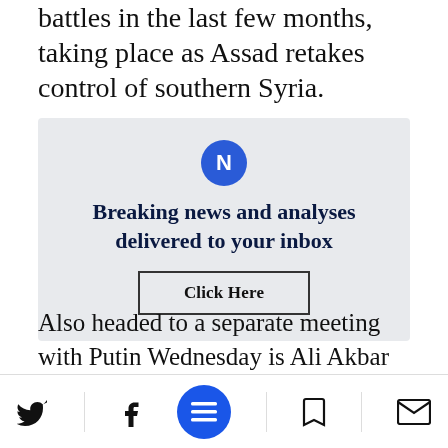battles in the last few months, taking place as Assad retakes control of southern Syria.
[Figure (infographic): Newsletter subscription box with icon and 'Breaking news and analyses delivered to your inbox' heading and a 'Click Here' button]
Also headed to a separate meeting with Putin Wednesday is Ali Akbar Velayati, a senior adviser to Iran's Supreme Leader Ayatollah Ali
Twitter, Facebook, Menu, Bookmark, Mail icons navigation bar